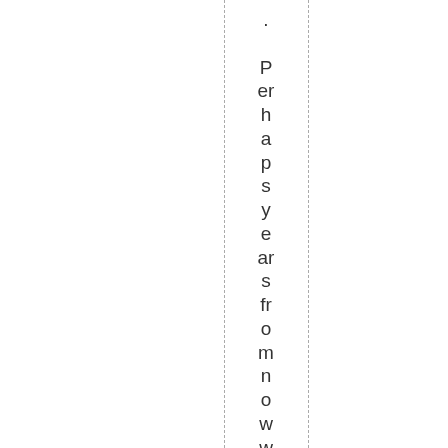. Perhaps years from now we'll look back on th